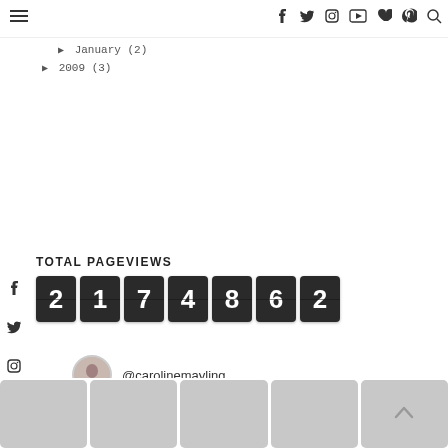January (2)
2009 (3)
TOTAL PAGEVIEWS
2174862
@carolinemayling
[Figure (photo): Grid of Instagram photos at bottom of page]